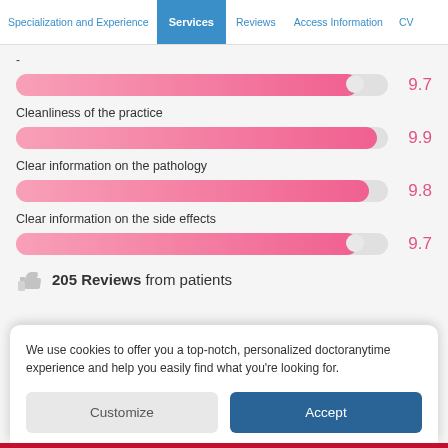Specialization and Experience | Services | Reviews | Access Information | CV
[Figure (bar-chart): Ratings]
205 Reviews from patients
We use cookies to offer you a top-notch, personalized doctoranytime experience and help you easily find what you're looking for.